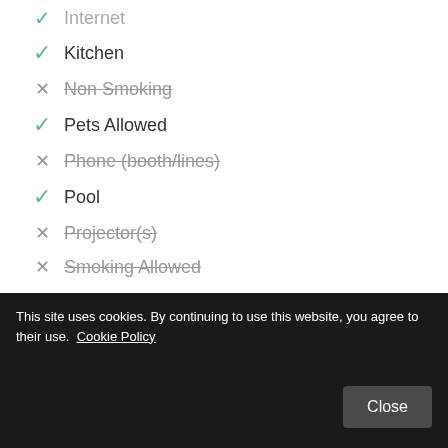Internet (partial - shown at top)
Kitchen
Non Smoking
Pets Allowed
Phone (booth/lines)
Pool
Projector(s)
Smoking Allowed
Suitable for Events
TV
Washer
Wheelchair Accessible
This site uses cookies. By continuing to use this website, you agree to their use. Cookie Policy